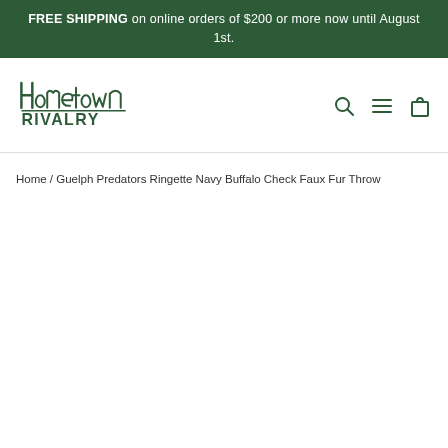FREE SHIPPING on online orders of $200 or more now until August 1st.
[Figure (logo): Hometown Rivalry logo — stylized script text 'Hometown' with 'RIVALRY' in bold sans-serif below]
Home / Guelph Predators Ringette Navy Buffalo Check Faux Fur Throw